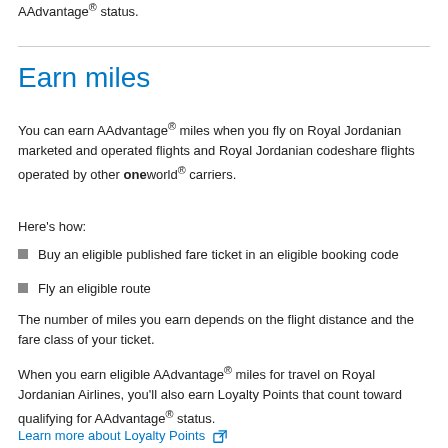AAdvantage® status.
Earn miles
You can earn AAdvantage® miles when you fly on Royal Jordanian marketed and operated flights and Royal Jordanian codeshare flights operated by other oneworld® carriers.
Here's how:
Buy an eligible published fare ticket in an eligible booking code
Fly an eligible route
The number of miles you earn depends on the flight distance and the fare class of your ticket.
When you earn eligible AAdvantage® miles for travel on Royal Jordanian Airlines, you'll also earn Loyalty Points that count toward qualifying for AAdvantage® status.
Learn more about Loyalty Points